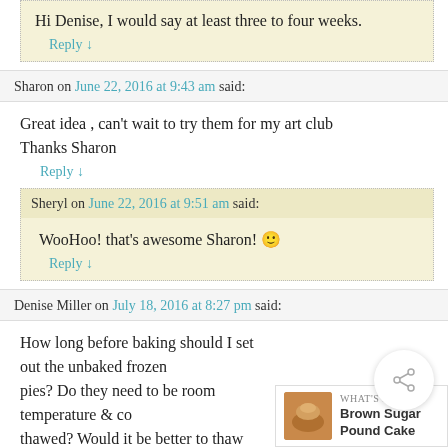Hi Denise, I would say at least three to four weeks.
Reply ↓
Sharon on June 22, 2016 at 9:43 am said:
Great idea , can't wait to try them for my art club
Thanks Sharon
Reply ↓
Sheryl on June 22, 2016 at 9:51 am said:
WooHoo! that's awesome Sharon! 🙂
Reply ↓
Denise Miller on July 18, 2016 at 8:27 pm said:
How long before baking should I set out the unbaked frozen pies? Do they need to be room temperature & completely thawed? Would it be better to thaw them in the ... have never frozen unbaked pies only pie shells.
Thank You for your help.